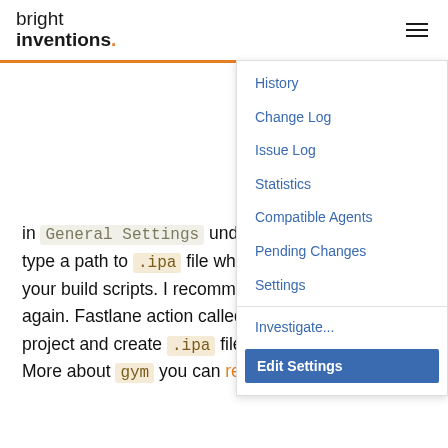bright inventions.
[Figure (screenshot): Dropdown navigation menu with items: History, Change Log, Issue Log, Statistics, Compatible Agents, Pending Changes, Settings, Investigate..., Edit Settings (highlighted in blue)]
in General Settings under Artifacts paths type a path to .ipa file which will be generated by your build scripts. I recommend using Fastlane again. Fastlane action called gym will build your project and create .ipa file in the output directory. More about gym you can read here